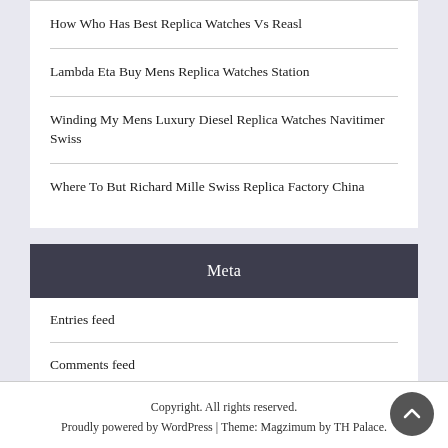How Who Has Best Replica Watches Vs Reasl
Lambda Eta Buy Mens Replica Watches Station
Winding My Mens Luxury Diesel Replica Watches Navitimer Swiss
Where To But Richard Mille Swiss Replica Factory China
Meta
Entries feed
Comments feed
replicawatches.is
Copyright. All rights reserved.
Proudly powered by WordPress | Theme: Magzimum by TH Palace.